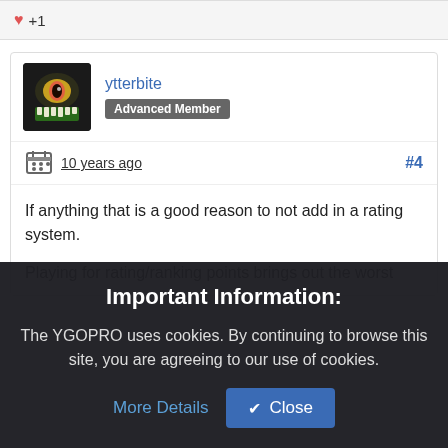[:lol:]
♥ +1
ytterbite
Advanced Member
10 years ago #4
If anything that is a good reason to not add in a rating system.
Playing for rating/ranking points brings out the worst
Important Information:
The YGOPRO uses cookies. By continuing to browse this site, you are agreeing to our use of cookies.
More Details
✓ Close